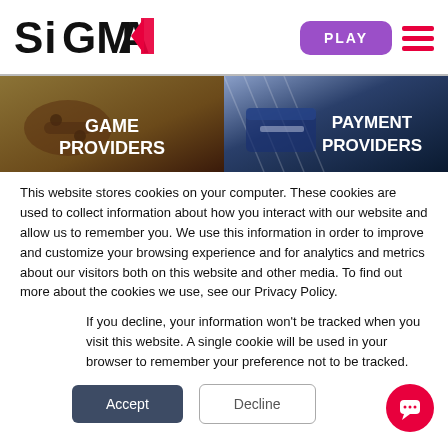[Figure (logo): SiGMA logo with red triangular arrow to the right of the text]
[Figure (screenshot): PLAY button (purple rounded rectangle) and hamburger menu icon (three red horizontal lines) in header]
[Figure (photo): Two banner images side by side: left shows 'GAME PROVIDERS' over a gaming controller image with dark reddish overlay; right shows 'PAYMENT PROVIDERS' over credit cards with dark navy overlay]
This website stores cookies on your computer. These cookies are used to collect information about how you interact with our website and allow us to remember you. We use this information in order to improve and customize your browsing experience and for analytics and metrics about our visitors both on this website and other media. To find out more about the cookies we use, see our Privacy Policy.
If you decline, your information won't be tracked when you visit this website. A single cookie will be used in your browser to remember your preference not to be tracked.
[Figure (screenshot): Two buttons: 'Accept' (dark navy/slate filled) and 'Decline' (white with border outline), and a red circular chat bubble icon in bottom right corner]